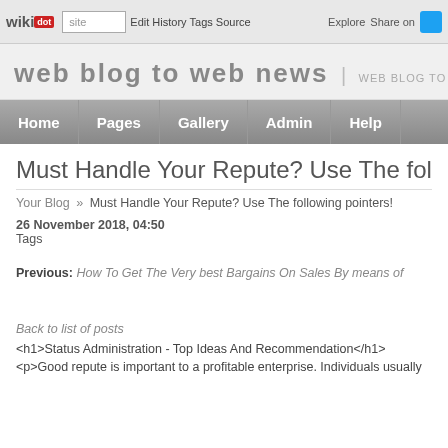wikidot | site | Edit | History | Tags | Source | Explore | Share on [Twitter]
web blog to web news | WEB BLOG TO WEB NEWS
Home | Pages | Gallery | Admin | Help
Must Handle Your Repute? Use The following pointers!
Your Blog » Must Handle Your Repute? Use The following pointers!
26 November 2018, 04:50
Tags
Previous: How To Get The Very best Bargains On Sales By means of
Back to list of posts
<h1>Status Administration - Top Ideas And Recommendation</h1>
<p>Good repute is important to a profitable enterprise. Individuals usually